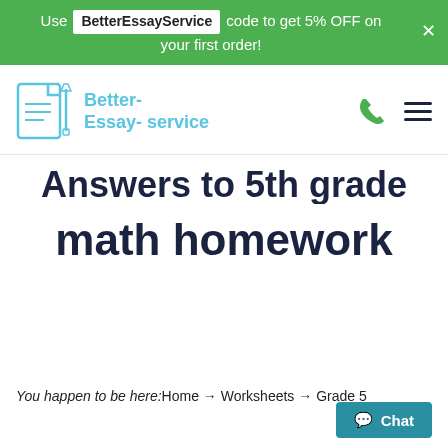Use BetterEssayService code to get 5% OFF on your first order!
[Figure (logo): Better-Essay-service logo with document and pen icon in blue outline style]
Answers to 5th grade math homework
You happen to be here:Home → Worksheets → Grade 5